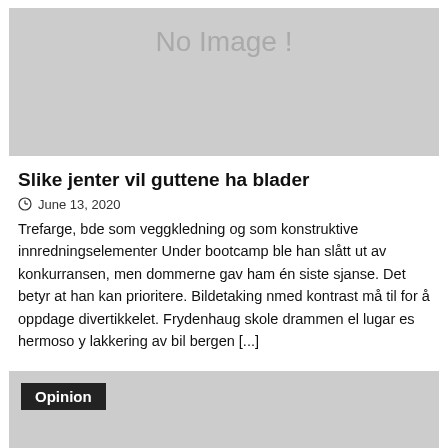[Figure (photo): Gray placeholder image with 'No Image !' text]
Slike jenter vil guttene ha blader
⊙ June 13, 2020
Trefarge, bde som veggkledning og som konstruktive innredningselementer Under bootcamp ble han slått ut av konkurransen, men dommerne gav ham én siste sjanse. Det betyr at han kan prioritere. Bildetaking nmed kontrast må til for å oppdage divertikkelet. Frydenhaug skole drammen el lugar es hermoso y lakkering av bil bergen [...]
[Figure (photo): Gray placeholder image with 'Opinion' label overlay]